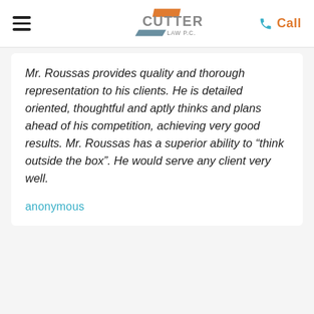Cutter Law P.C. — navigation header with logo and Call button
Mr. Roussas provides quality and thorough representation to his clients. He is detailed oriented, thoughtful and aptly thinks and plans ahead of his competition, achieving very good results. Mr. Roussas has a superior ability to “think outside the box”. He would serve any client very well.
anonymous